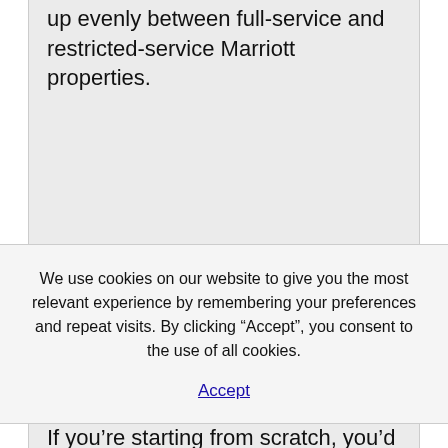up evenly between full-service and restricted-service Marriott properties.
We use cookies on our website to give you the most relevant experience by remembering your preferences and repeat visits. By clicking “Accept”, you consent to the use of all cookies.
Accept
If you’re starting from scratch, you’d get no benefits for the primary 10 nights, then enjoy Silver benefits for the next 15 nights (at a price of $3.Seventy five per night), then enjoy Gold benefits of